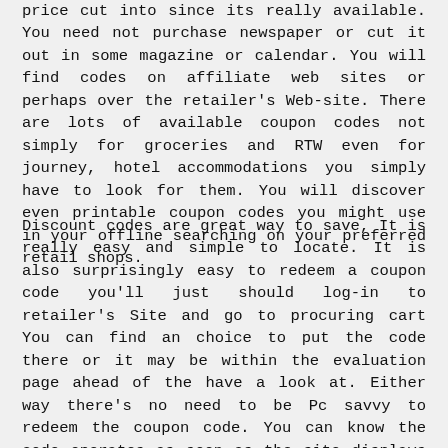price cut into since its really available. You need not purchase newspaper or cut it out in some magazine or calendar. You will find codes on affiliate web sites or perhaps over the retailer's Website. There are lots of available coupon codes not simply for groceries and RTW even for journey, hotel accommodations you simply have to look for them. You will discover even printable coupon codes you might use in your offline searching on your preferred retail shops.
Discount codes are great way to save, It is really easy and simple to locate. It is also surprisingly easy to redeem a coupon code you'll just should log-in to retailer's Site and go to procuring cart You can find an choice to put the code there or it may be within the evaluation page ahead of the have a look at. Either way there's no need to be Pc savvy to redeem the coupon code. You can know the code operates as soon as the site displays the original cost of the merchandise and after that the lower price you are likely to get. It'll surface ventolin hfa